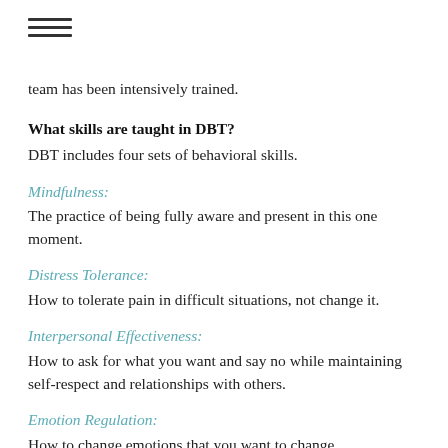☰
team has been intensively trained.
What skills are taught in DBT?
DBT includes four sets of behavioral skills.
Mindfulness:
The practice of being fully aware and present in this one moment.
Distress Tolerance:
How to tolerate pain in difficult situations, not change it.
Interpersonal Effectiveness:
How to ask for what you want and say no while maintaining self-respect and relationships with others.
Emotion Regulation:
How to change emotions that you want to change.